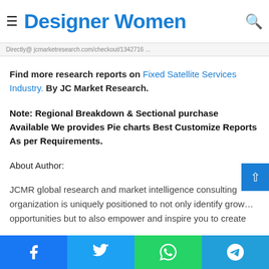Designer Women
Purchase & Get Instant copy of Full Fixed Satellite ... Directly@ jcmarketresearch.com/checkout/1342716 ...
Find more research reports on Fixed Satellite Services Industry. By JC Market Research.
Note: Regional Breakdown & Sectional purchase Available We provides Pie charts Best Customize Reports As per Requirements.
About Author:
JCMR global research and market intelligence consulting organization is uniquely positioned to not only identify growth opportunities but to also empower and inspire you to create
Facebook | Twitter | WhatsApp | Telegram